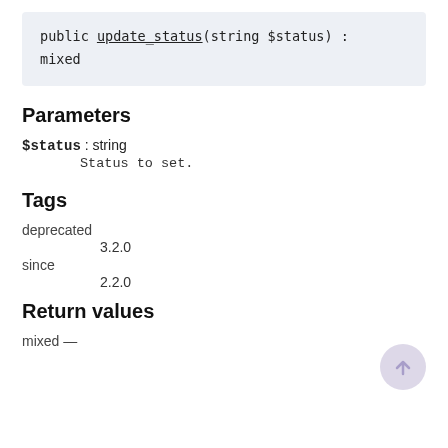public update_status(string $status) : mixed
Parameters
$status : string
    Status to set.
Tags
deprecated
    3.2.0
since
    2.2.0
Return values
mixed —